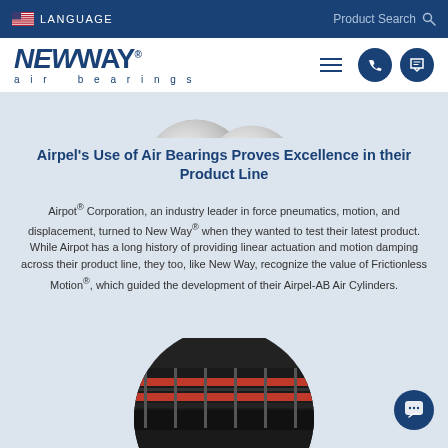LANGUAGE | Product Search
[Figure (logo): New Way air bearings logo with navigation icons]
[Figure (photo): Partial product photo at top showing metallic air bearing components]
Airpel's Use of Air Bearings Proves Excellence in their Product Line
Airpot® Corporation, an industry leader in force pneumatics, motion, and displacement, turned to New Way® when they wanted to test their latest product. While Airpot has a long history of providing linear actuation and motion damping across their product line, they too, like New Way, recognize the value of Frictionless Motion®, which guided the development of their Airpel-AB Air Cylinders.
[Figure (photo): Circular cropped photo of industrial equipment/air cylinder machinery]